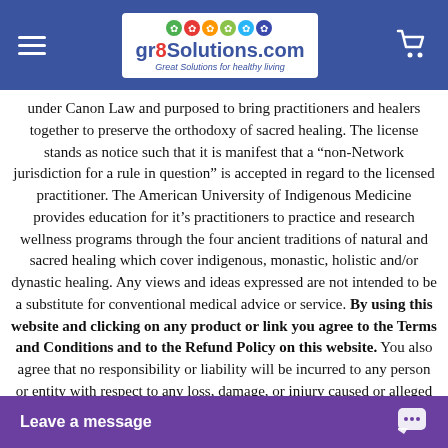[Figure (screenshot): Website navigation bar with hamburger menu, gr8Solutions.com logo, and cart icon on blue background]
under Canon Law and purposed to bring practitioners and healers together to preserve the orthodoxy of sacred healing. The license stands as notice such that it is manifest that a “non-Network jurisdiction for a rule in question” is accepted in regard to the licensed practitioner. The American University of Indigenous Medicine provides education for it’s practitioners to practice and research wellness programs through the four ancient traditions of natural and sacred healing which cover indigenous, monastic, holistic and/or dynastic healing. Any views and ideas expressed are not intended to be a substitute for conventional medical advice or service. By using this website and clicking on any product or link you agree to the Terms and Conditions and to the Refund Policy on this website. You also agree that no responsibility or liability will be incurred to any person or entity with respect to any loss, damage, or injury caused or alleged to … … the information available …
[Figure (screenshot): Purple chat bar at bottom with 'Leave a message' text and chat bubble icon]